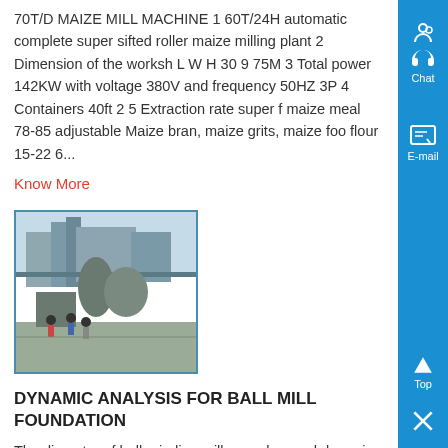70T/D MAIZE MILL MACHINE 1 60T/24H automatic complete super sifted roller maize milling plant 2 Dimension of the workshop L W H 30 9 75M 3 Total power 142KW with voltage 380V and frequency 50HZ 3P 4 Containers 40ft 2 5 Extraction rate super fine maize meal 78-85 adjustable Maize bran, maize grits, maize food flour 15-22 6...
Know More
[Figure (photo): Photo of an industrial milling plant facility with workers and machinery visible outdoors]
DYNAMIC ANALYSIS FOR BALL MILL FOUNDATION
The diameter of ball grinding mills may be much large in mining industry. A practical case of ball mill foundation is examined here...